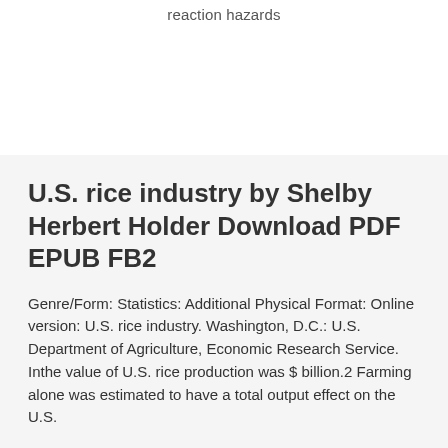reaction hazards
U.S. rice industry by Shelby Herbert Holder Download PDF EPUB FB2
Genre/Form: Statistics: Additional Physical Format: Online version: U.S. rice industry. Washington, D.C.: U.S. Department of Agriculture, Economic Research Service. Inthe value of U.S. rice production was $ billion.2 Farming alone was estimated to have a total output effect on the U.S.